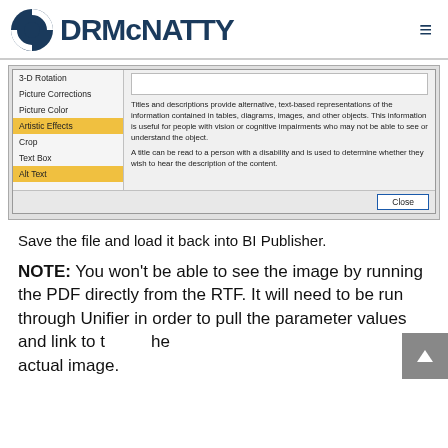DRMcNATTY
[Figure (screenshot): A dialog box for Format Picture showing a left panel with menu items: 3-D Rotation, Picture Corrections, Picture Color, Artistic Effects (highlighted yellow), Crop, Text Box, Alt Text (highlighted yellow). The right panel shows a text box area and explanatory text about Titles and descriptions providing alternative text-based representations. A Close button appears at the bottom right.]
Save the file and load it back into BI Publisher.
NOTE: You won't be able to see the image by running the PDF directly from the RTF. It will need to be run through Unifier in order to pull the parameter values and link to the actual image.